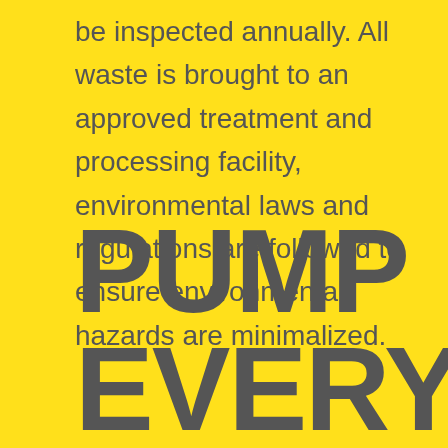be inspected annually. All waste is brought to an approved treatment and processing facility, environmental laws and regulations are followed to ensure environmental hazards are minimalized.
PUMP EVERY